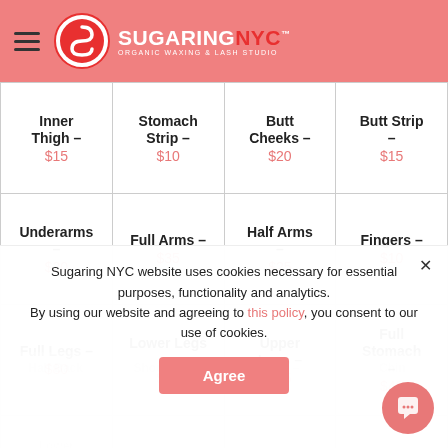Sugaring NYC — Organic Waxing & Lash Studio
| Service | Service | Service | Service |
| --- | --- | --- | --- |
| Inner Thigh – $15 | Stomach Strip – $10 | Butt Cheeks – $20 | Butt Strip – $15 |
| Underarms – $20 | Full Arms – $35 | Half Arms – $25 | Fingers – $10 |
| Full Legs – $80 | Lower Legs – $45 | Upper Legs – $45 | Full Stomach – $40 |
| Lower Stomach | Full Back |  |  |
| Half Back | Shoulders – | Neck – | Chin |
Sugaring NYC website uses cookies necessary for essential purposes, functionality and analytics. By using our website and agreeing to this policy, you consent to our use of cookies.